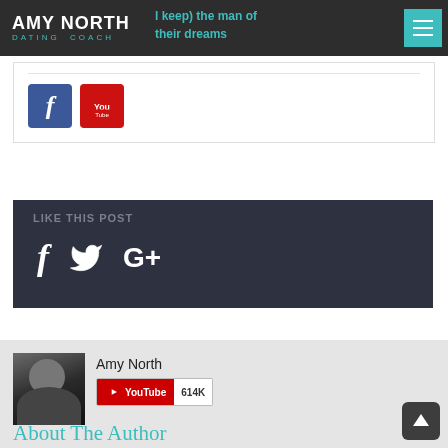Amy North Dating Coach
... (keep) the man of their dreams
[Figure (logo): Facebook icon blue square and YouTube icon red square]
[Figure (infographic): Dark share bar with label 'LIKE THIS POST' and social icons for Facebook, Twitter, Google+]
[Figure (photo): Amy North author photo - dark haired woman]
Amy North
[Figure (logo): YouTube subscribe badge showing 614K subscribers]
About The Author